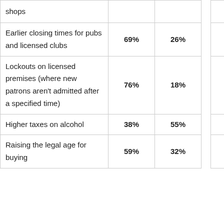|  | Col1 | Col2 |  | Col3 | Col4 |
| --- | --- | --- | --- | --- | --- |
| shops |  |  |  |  |  |
| Earlier closing times for pubs and licensed clubs | 69% | 26% |  | 35% | 34% |
| Lockouts on licensed premises (where new patrons aren't admitted after a specified time) | 76% | 18% |  | 40% | 36% |
| Higher taxes on alcohol | 38% | 55% |  | 21% | 17% |
| Raising the legal age for buying… | 59% | 32% |  | 31% | 28% |